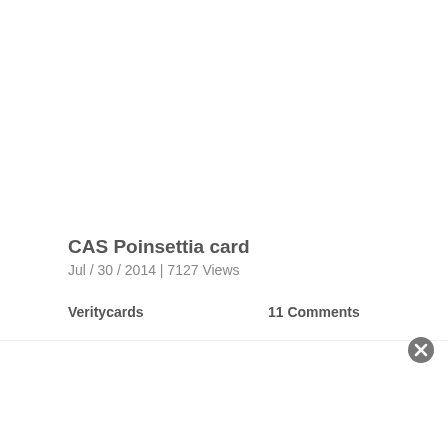CAS Poinsettia card
Jul / 30 / 2014 | 7127 Views
Veritycards
11 Comments
[Figure (photo): Partial view of a card on a dark brown wooden background, with a white/grey card visible at the bottom of the image]